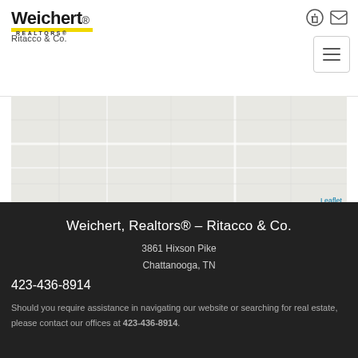[Figure (logo): Weichert Realtors - Ritacco & Co. logo with yellow bar and company name]
[Figure (map): A light gray map area (Leaflet map placeholder) showing a street/terrain view]
Weichert, Realtors® - Ritacco & Co.
3861 Hixson Pike
Chattanooga, TN
423-436-8914
Should you require assistance in navigating our website or searching for real estate, please contact our offices at 423-436-8914.